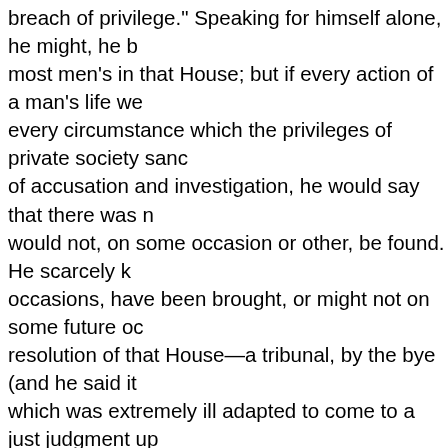breach of privilege." Speaking for himself alone, he might, he b most men's in that House; but if every action of a man's life we every circumstance which the privileges of private society sanc of accusation and investigation, he would say that there was n would not, on some occasion or other, be found. He scarcely k occasions, have been brought, or might not on some future oc resolution of that House—a tribunal, by the bye (and he said it which was extremely ill adapted to come to a just judgment up before which he should be very unwilling to appear, so long as take the charge under their cognizance, and upon which it was that the charges against Mr. O'Connell were precisely of that n of a tribunal influenced by a difference of political opinion, and which might have been pronounced as just, by 200 Gentlemen possibly have been called persecution by 250 Gentlemen on th grounds that his own conduct was governed in not endeavouri Committee words that embodied any opinions of his own with that opportunity to state in the Report his opinion on that transa now too late if he went at length into any criticism or observatio that (the Opposition) side of the House as he did, he had been conduct of himself and the other Gentlemen who had formed a